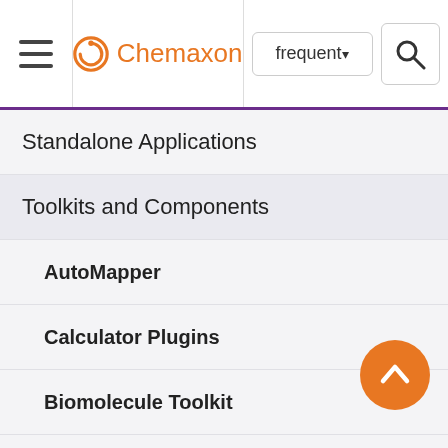Chemaxon — frequent [search]
Standalone Applications
Toolkits and Components
AutoMapper
Calculator Plugins
Biomolecule Toolkit
Chemaxon Synergy
Document to Structure
JChem Base
JChem Choral
8th 2019 JChe Micr 19.23
# Impro
M m - s C - h b